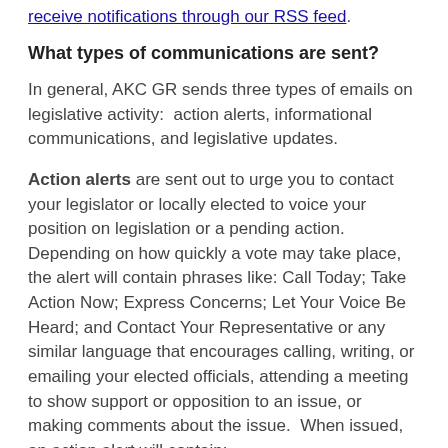receive notifications through our RSS feed.
What types of communications are sent?
In general, AKC GR sends three types of emails on legislative activity:  action alerts, informational communications, and legislative updates.
Action alerts are sent out to urge you to contact your legislator or locally elected to voice your position on legislation or a pending action.  Depending on how quickly a vote may take place, the alert will contain phrases like: Call Today; Take Action Now; Express Concerns; Let Your Voice Be Heard; and Contact Your Representative or any similar language that encourages calling, writing, or emailing your elected officials, attending a meeting to show support or opposition to an issue, or making comments about the issue.  When issued, an action alert will contain: